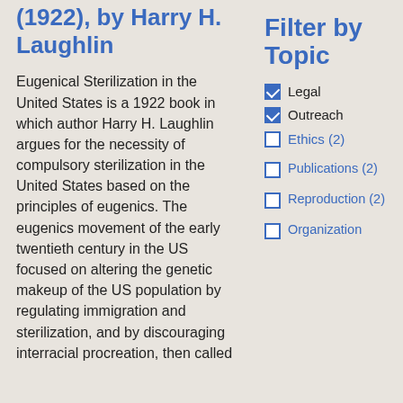(1922), by Harry H. Laughlin
Eugenical Sterilization in the United States is a 1922 book in which author Harry H. Laughlin argues for the necessity of compulsory sterilization in the United States based on the principles of eugenics. The eugenics movement of the early twentieth century in the US focused on altering the genetic makeup of the US population by regulating immigration and sterilization, and by discouraging interracial procreation, then called
Filter by Topic
Legal (checked)
Outreach (checked)
Ethics (2)
Publications (2)
Reproduction (2)
Organization